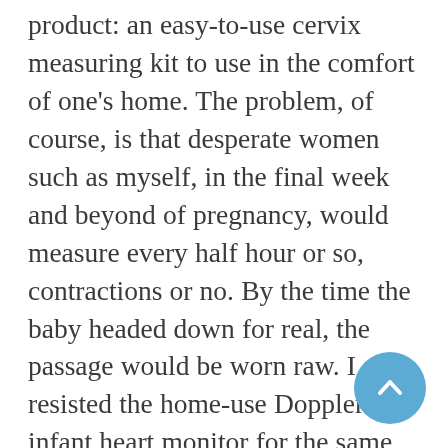product: an easy-to-use cervix measuring kit to use in the comfort of one's home. The problem, of course, is that desperate women such as myself, in the final week and beyond of pregnancy, would measure every half hour or so, contractions or no. By the time the baby headed down for real, the passage would be worn raw. I resisted the home-use Doppler infant heart monitor for the same reason. I tend to get obsessive. These days, everybody's got a theory on when the baby's going to come and what's going to inspire her to make the journey. The woman working in Customer Service at Target this morning asked the requisite question: When are you due? When I answered, she smiled (these are